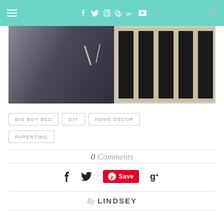Navigation header with hamburger menu, social icons (Facebook, Twitter, Instagram, Pinterest, Google+, YouTube) and search icon
[Figure (photo): Child in dark hoodie sitting next to a white crib with dark vertical bars, viewed from the side]
BIG BOY BED
DIY
HOME DECOR
PARENTING
0 Comments
Share icons: Facebook, Twitter, Pinterest Save, Google+
By LINDSEY